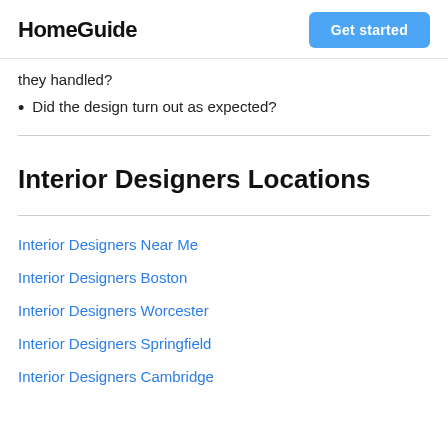HomeGuide | Get started
they handled?
Did the design turn out as expected?
Interior Designers Locations
Interior Designers Near Me
Interior Designers Boston
Interior Designers Worcester
Interior Designers Springfield
Interior Designers Cambridge